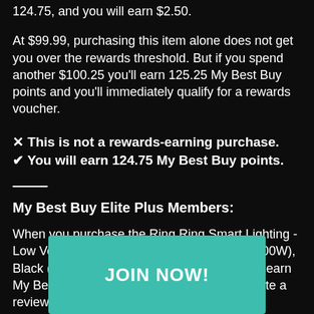124.75, and you will earn $2.50.
At $99.99, purchasing this item alone does not get you over the rewards threshold. But if you spend another $100.25 you'll earn 125.25 My Best Buy points and you'll immediately qualify for a rewards voucher.
✕ This is not a rewards-earning purchase.
✔ You will earn 124.75 My Best Buy points.
My Best Buy Elite Plus Members:
When you purchase the Ring Ring Smart Lighting - Low Voltage Lighting Transformer (12-15V, 200W), Black (Ring Bridge required) at $99.99, you'll earn My Best Buy Elite Plus points. Then if you write a review, you'll earn a total of 149.75
[Figure (other): Teal JOIN NOW! button overlay]